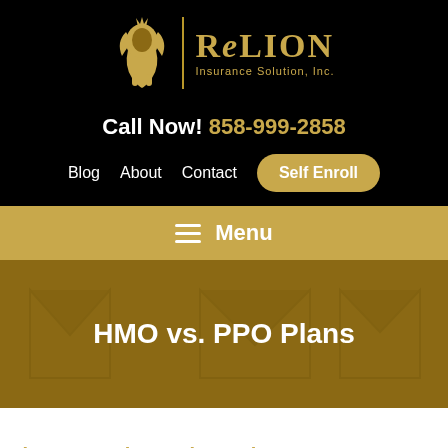[Figure (logo): ReLion Insurance Solution, Inc. logo with stylized lion icon and gold text on black background]
Call Now! 858-999-2858
Blog  About  Contact  Self Enroll
≡ Menu
HMO vs. PPO Plans
Choose a Private Alternative to Bet